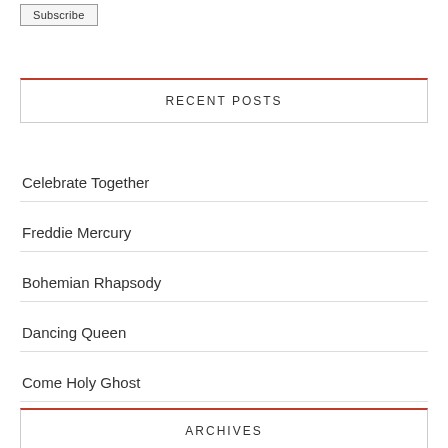Subscribe
RECENT POSTS
Celebrate Together
Freddie Mercury
Bohemian Rhapsody
Dancing Queen
Come Holy Ghost
ARCHIVES